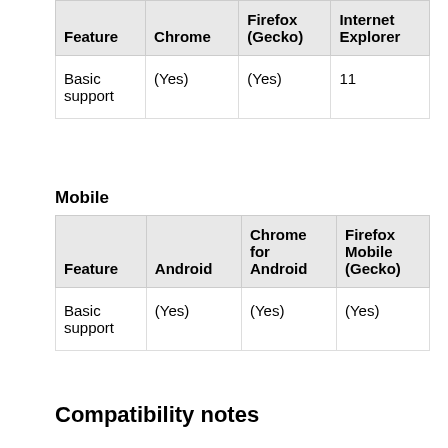| Feature | Chrome | Firefox (Gecko) | Internet Explorer |
| --- | --- | --- | --- |
| Basic support | (Yes) | (Yes) | 11 |
Mobile
| Feature | Android | Chrome for Android | Firefox Mobile (Gecko) |
| --- | --- | --- | --- |
| Basic support | (Yes) | (Yes) | (Yes) |
Compatibility notes